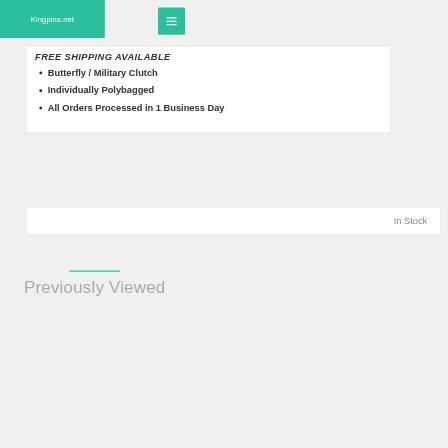Kingpins.net
Butterfly / Military Clutch
Individually Polybagged
All Orders Processed in 1 Business Day
In Stock
Previously Viewed